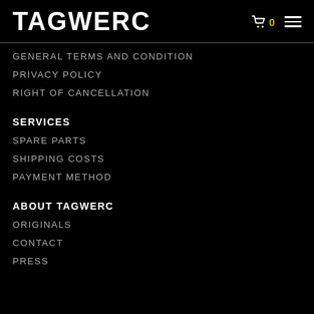TAGWERC 🛒 0 ≡
GENERAL TERMS AND CONDITION
PRIVACY POLICY
RIGHT OF CANCELLATION
SERVICES
SPARE PARTS
SHIPPING COSTS
PAYMENT METHOD
ABOUT TAGWERC
ORIGINALS
CONTACT
PRESS